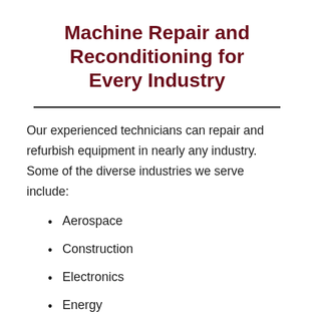Machine Repair and Reconditioning for Every Industry
Our experienced technicians can repair and refurbish equipment in nearly any industry. Some of the diverse industries we serve include:
Aerospace
Construction
Electronics
Energy